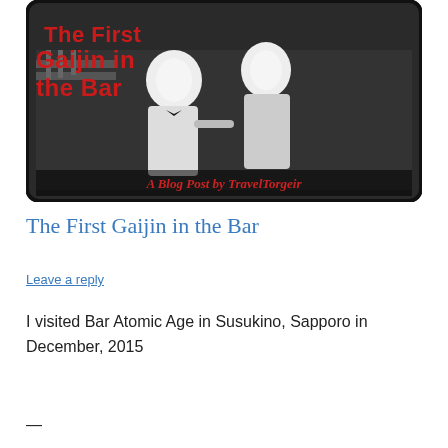[Figure (illustration): Blog post header image: black and white illustration of two men at a bar with red text overlay reading 'The First Gaijin in the Bar' and subtitle 'A Blog Post by TravelTorgeir', with a black border and rounded corners.]
The First Gaijin in the Bar
Leave a reply
I visited Bar Atomic Age in Susukino, Sapporo in December, 2015
—